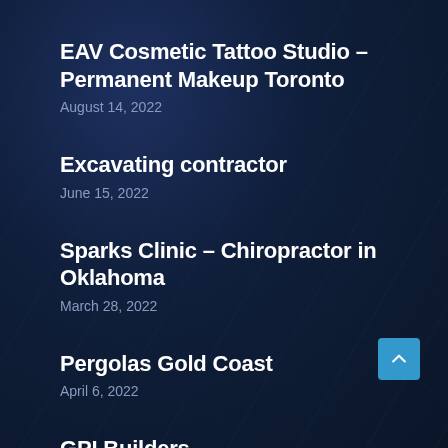EAV Cosmetic Tattoo Studio – Permanent Makeup Toronto
August 14, 2022
Excavating contractor
June 15, 2022
Sparks Clinic – Chiropractor in Oklahoma
March 28, 2022
Pergolas Gold Coast
April 6, 2022
GPI Builders